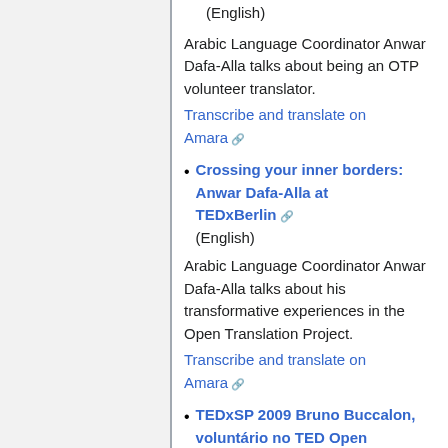(English)
Arabic Language Coordinator Anwar Dafa-Alla talks about being an OTP volunteer translator.
Transcribe and translate on Amara
Crossing your inner borders: Anwar Dafa-Alla at TEDxBerlin (English)
Arabic Language Coordinator Anwar Dafa-Alla talks about his transformative experiences in the Open Translation Project.
Transcribe and translate on Amara
TEDxSP 2009 Bruno Buccalon, voluntário no TED Open Translation Project (Portuguese)
An OTP translator talks about his work and the Project.